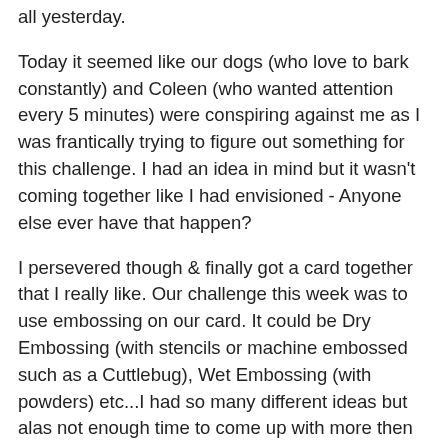all yesterday.
Today it seemed like our dogs (who love to bark constantly) and Coleen (who wanted attention every 5 minutes) were conspiring against me as I was frantically trying to figure out something for this challenge. I had an idea in mind but it wasn't coming together like I had envisioned - Anyone else ever have that happen?
I persevered though & finally got a card together that I really like. Our challenge this week was to use embossing on our card. It could be Dry Embossing (with stencils or machine embossed such as a Cuttlebug), Wet Embossing (with powders) etc...I had so many different ideas but alas not enough time to come up with more then one card so I hope you like what I ended up with.
My card base is Night of Navy with a layer of Creamy Caramel embossed with the Snowflake Cuttlebug template and distressed (DTP) with a Craft Vanilla Ink Pad. I then layered a piece of this wonderful designer paper, (Which I believe is by Heidi Grace by right now I can't find the paper information) I'll check around and if this is wrong, I'll edit in